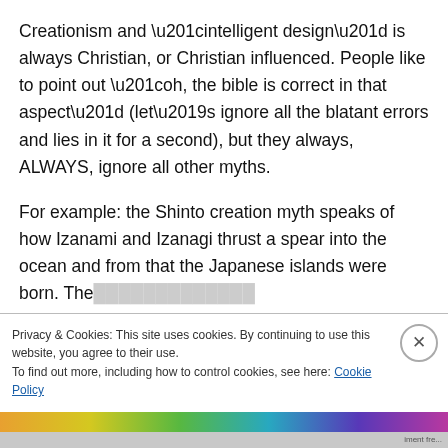Creationism and “intelligent design” is always Christian, or Christian influenced. People like to point out “oh, the bible is correct in that aspect” (let’s ignore all the blatant errors and lies in it for a second), but they always, ALWAYS, ignore all other myths.
For example: the Shinto creation myth speaks of how Izanami and Izanagi thrust a spear into the ocean and from that the Japanese islands were born. The s…
Privacy & Cookies: This site uses cookies. By continuing to use this website, you agree to their use.
To find out more, including how to control cookies, see here: Cookie Policy